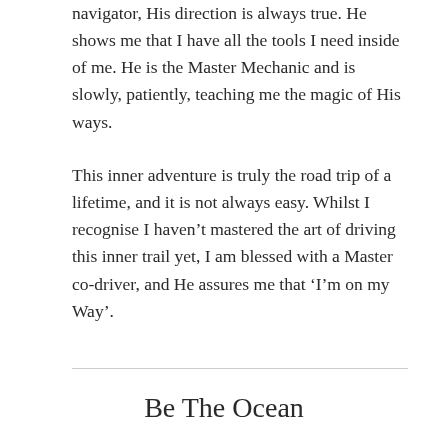navigator, His direction is always true. He shows me that I have all the tools I need inside of me. He is the Master Mechanic and is slowly, patiently, teaching me the magic of His ways.
This inner adventure is truly the road trip of a lifetime, and it is not always easy. Whilst I recognise I haven’t mastered the art of driving this inner trail yet, I am blessed with a Master co-driver, and He assures me that ‘I’m on my Way’.
Be The Ocean